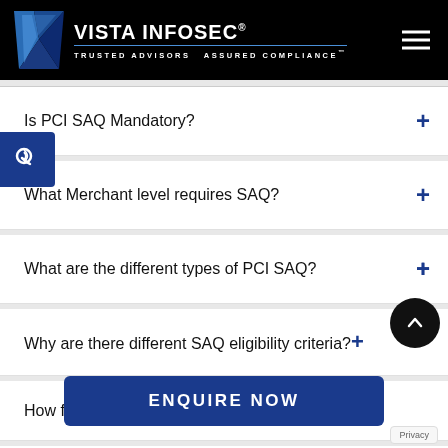[Figure (logo): Vista Infosec logo with blue V-shaped chevron icon on black background, text VISTA INFOSEC with tagline TRUSTED ADVISORS ASSURED COMPLIANCE]
Is PCI SAQ Mandatory?
What Merchant level requires SAQ?
What are the different types of PCI SAQ?
Why are there different SAQ eligibility criteria?
How frequently should the SAQ be performed?
ENQUIRE NOW